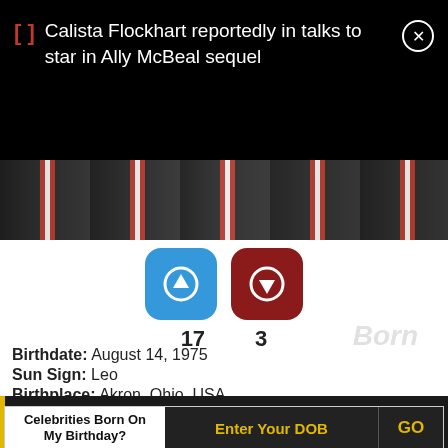Calista Flockhart reportedly in talks to star in Ally McBeal sequel
[Figure (photo): Partial photo strip showing red/white/black graphic pattern]
[Figure (infographic): Blue upvote button showing 17 votes and dark red downvote button showing 3 votes]
Birthdate: August 14, 1975
Sun Sign: Leo
Birthplace: Akron, Ohio, USA
29  Toni Garrn
Celebrities Born On My Birthday?
Enter Your DOB
GO